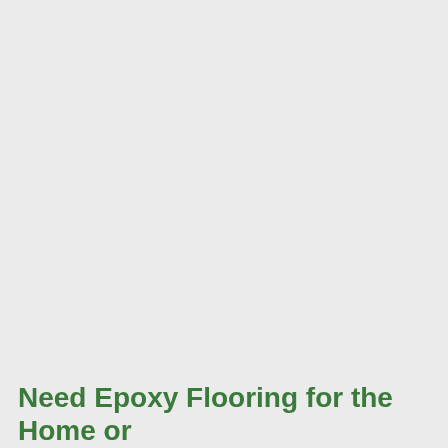Need Epoxy Flooring for the Home or